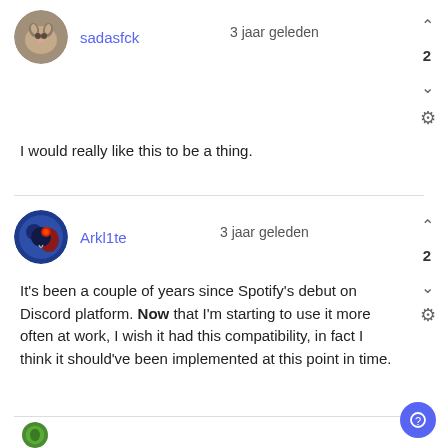sadasfck
3 jaar geleden
2
I would really like this to be a thing.
Arkl1te
3 jaar geleden
2
It's been a couple of years since Spotify's debut on Discord platform. Now that I'm starting to use it more often at work, I wish it had this compatibility, in fact I think it should've been implemented at this point in time.